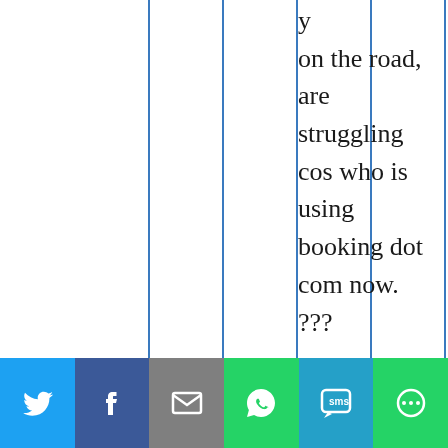y on the road, are struggling cos who is using booking dot com now. ??? I heard that one was replacing their...
[Figure (infographic): Social media sharing bar with icons for Twitter, Facebook, Email, WhatsApp, SMS, and More]